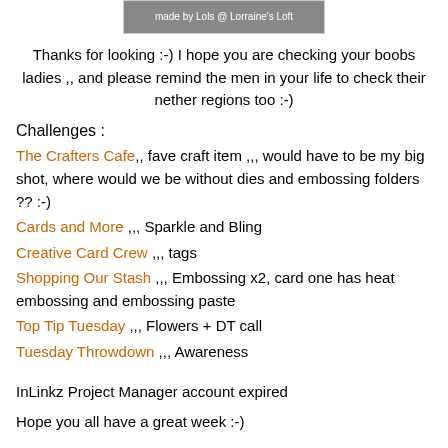[Figure (photo): Partial image with watermark text 'made by Lols @ Lorraine's Loft' on a dark background]
Thanks for looking :-) I hope you are checking your boobs ladies ,, and please remind the men in your life to check their nether regions too :-)
Challenges :
The Crafters Cafe,, fave craft item ,,, would have to be my big shot, where would we be without dies and embossing folders ?? :-)
Cards and More ,,, Sparkle and Bling
Creative Card Crew ,,, tags
Shopping Our Stash ,,, Embossing x2, card one has heat embossing and embossing paste
Top Tip Tuesday ,,, Flowers + DT call
Tuesday Throwdown ,,, Awareness
InLinkz Project Manager account expired
Hope you all have a great week :-)